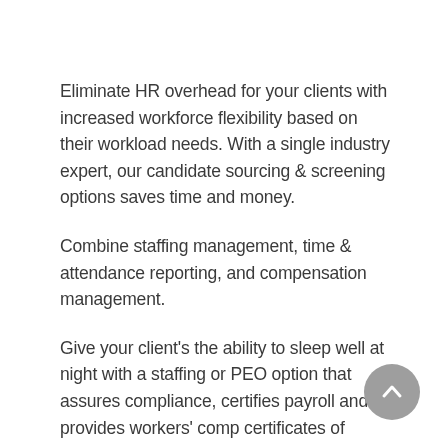Eliminate HR overhead for your clients with increased workforce flexibility based on their workload needs. With a single industry expert, our candidate sourcing & screening options saves time and money.
Combine staffing management, time & attendance reporting, and compensation management.
Give your client's the ability to sleep well at night with a staffing or PEO option that assures compliance, certifies payroll and provides workers' comp certificates of